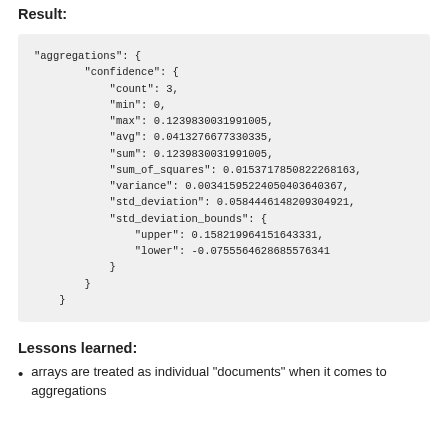Result:
"aggregations": {
        "confidence": {
            "count": 3,
            "min": 0,
            "max": 0.1239830031991005,
            "avg": 0.0413276677330335,
            "sum": 0.1239830031991005,
            "sum_of_squares": 0.0153717850822268163,
            "variance": 0.00341595224050403640367,
            "std_deviation": 0.0584446148209304921,
            "std_deviation_bounds": {
                "upper": 0.158219964151643331,
                "lower": -0.0755564628685576341
            }
        }
    }
Lessons learned:
arrays are treated as individual "documents" when it comes to aggregations